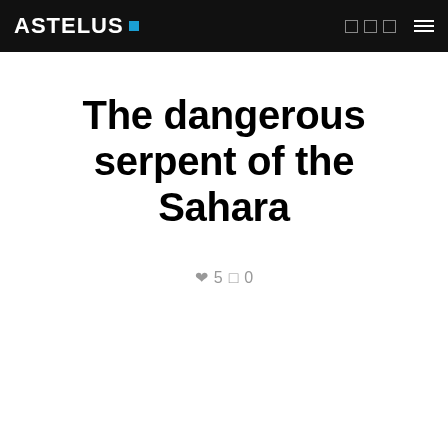ASTELUS .
The dangerous serpent of the Sahara
❤ 5 💬 0